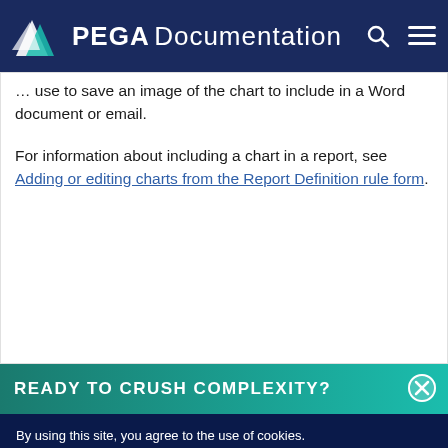PEGA Documentation
use to save an image of the chart to include in a Word document or email.

For information about including a chart in a report, see Adding or editing charts from the Report Definition rule form.
READY TO CRUSH COMPLEXITY?
By using this site, you agree to the use of cookies. Read our Privacy Policy
Accept and continue   About cookies